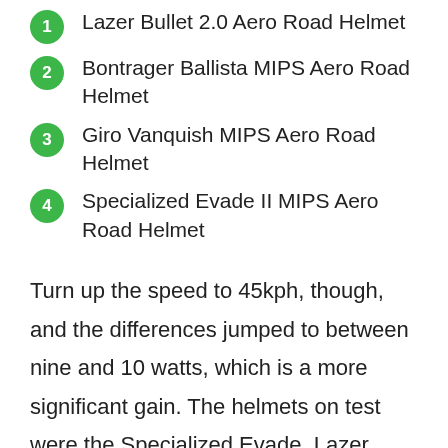1. Lazer Bullet 2.0 Aero Road Helmet
2. Bontrager Ballista MIPS Aero Road Helmet
3. Giro Vanquish MIPS Aero Road Helmet
4. Specialized Evade II MIPS Aero Road Helmet
Turn up the speed to 45kph, though, and the differences jumped to between nine and 10 watts, which is a more significant gain. The helmets on test were the Specialized Evade, Lazer Bullet, Giro Vanquish and Bontrager Bullet.